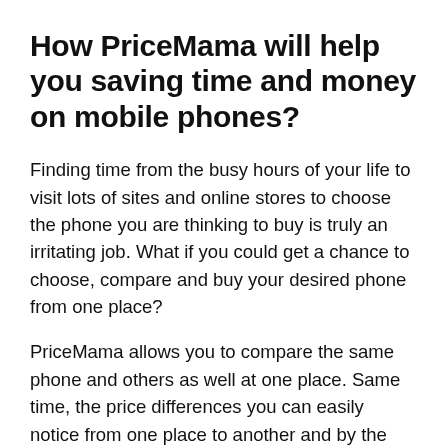How PriceMama will help you saving time and money on mobile phones?
Finding time from the busy hours of your life to visit lots of sites and online stores to choose the phone you are thinking to buy is truly an irritating job. What if you could get a chance to choose, compare and buy your desired phone from one place?
PriceMama allows you to compare the same phone and others as well at one place. Same time, the price differences you can easily notice from one place to another and by the comparison, you get to